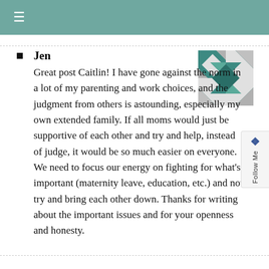≡
[Figure (illustration): Decorative geometric star/pinwheel avatar icon in teal and gray mosaic pattern]
Jen
Great post Caitlin! I have gone against the norm in a lot of my parenting and work choices, and the judgment from others is astounding, especially my own extended family. If all moms would just be supportive of each other and try and help, instead of judge, it would be so much easier on everyone. We need to focus our energy on fighting for what's important (maternity leave, education, etc.) and not try and bring each other down. Thanks for writing about the important issues and for your openness and honesty.